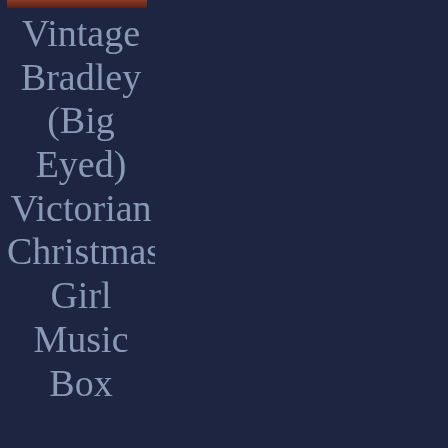[Figure (photo): Partial image of a Victorian Christmas Girl Music Box visible at top]
Vintage Bradley (Big Eyed) Victorian Christmas Girl Music Box